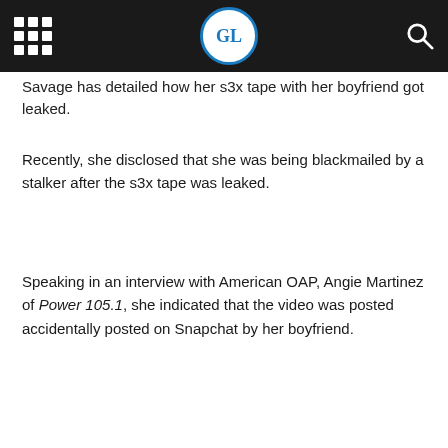GL logo header with grid menu and search icon
Savage has detailed how her s3x tape with her boyfriend got leaked.
Recently, she disclosed that she was being blackmailed by a stalker after the s3x tape was leaked.
Speaking in an interview with American OAP, Angie Martinez of Power 105.1, she indicated that the video was posted accidentally posted on Snapchat by her boyfriend.